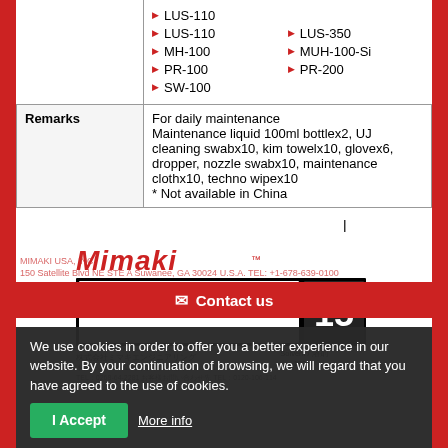|  |  |
| --- | --- |
|  | ▶ LUS-110  ▶ LUS-350
▶ MH-100  ▶ MUH-100-Si
▶ PR-100  ▶ PR-200
▶ SW-100 |
| Remarks | For daily maintenance
Maintenance liquid 100ml bottlex2, UJ cleaning swabx10, kim towelx10, glovex6, dropper, nozzle swabx10, maintenance clothx10, techno wipex10
* Not available in China |
[Figure (photo): Mimaki Maintenance Liquid 15 product label. Order No. / 品番 ML015-Z-B1. Number 15 displayed prominently. Solvent / 溶剤 100ml. Mimaki logo in red. Manufacturer address information in Japanese.]
MIMAKI USA, INC. Contact us
We use cookies in order to offer you a better experience in our website. By your continuation of browsing, we will regard that you have agreed to the use of cookies.